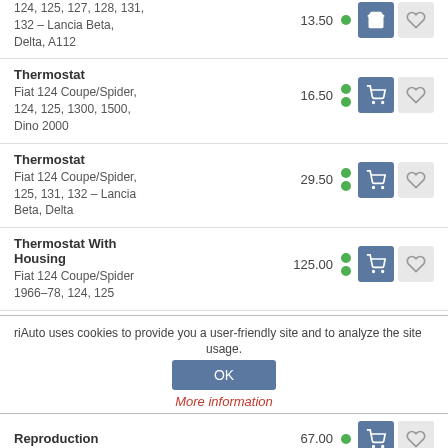124, 125, 127, 128, 131, 132 – Lancia Beta, Delta, A112
Thermostat
Fiat 124 Coupe/Spider, 124, 125, 1300, 1500, Dino 2000
Thermostat
Fiat 124 Coupe/Spider, 125, 131, 132 – Lancia Beta, Delta
Thermostat With Housing
Fiat 124 Coupe/Spider 1966-78, 124, 125
riAuto uses cookies to provide you a user-friendly site and to analyze the site usage.
OK
More information
Reproduction